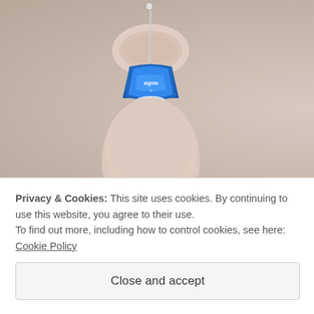[Figure (photo): Two tiny in-ear hearing aids (one blue, one red, both branded 'signia') held between fingers, photographed close-up against a soft beige background.]
Seniors with Hearing Loss in Virginia Regret Not
[Figure (photo): Partial photo on the right side — appears to show a room with shelving/binders and possibly a person, cropped at the edge.]
Powerfu
Privacy & Cookies: This site uses cookies. By continuing to use this website, you agree to their use.
To find out more, including how to control cookies, see here: Cookie Policy
Close and accept